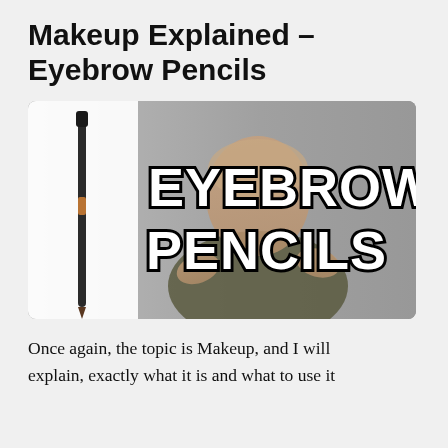Makeup Explained – Eyebrow Pencils
[Figure (photo): Thumbnail image showing a person holding eyebrow pencils with bold text overlay reading 'EYEBROW PENCILS' in white with black outline, and a product shot on the left side against a white background.]
Once again, the topic is Makeup, and I will explain, exactly what it is and what to use it